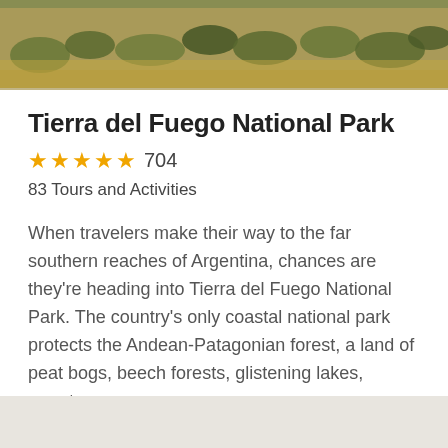[Figure (photo): Aerial/close-up photograph of dry golden-brown grass and scrubby bushes on a hillside, typical Patagonian landscape]
Tierra del Fuego National Park
★★★★★ 704
83 Tours and Activities
When travelers make their way to the far southern reaches of Argentina, chances are they're heading into Tierra del Fuego National Park. The country's only coastal national park protects the Andean-Patagonian forest, a land of peat bogs, beech forests, glistening lakes, remote
Learn More
[Figure (map): Partial map shown at bottom of page with light beige/gray background]